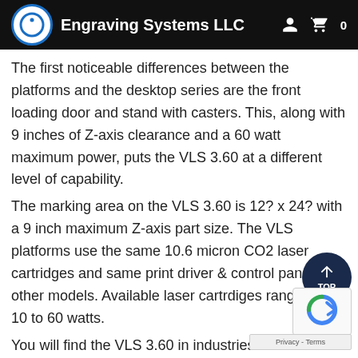Engraving Systems LLC
The first noticeable differences between the platforms and the desktop series are the front loading door and stand with casters. This, along with 9 inches of Z-axis clearance and a 60 watt maximum power, puts the VLS 3.60 at a different level of capability.
The marking area on the VLS 3.60 is 12? x 24? with a 9 inch maximum Z-axis part size. The VLS platforms use the same 10.6 micron CO2 laser cartridges and same print driver & control panel all other models. Available laser cartrdiges range from 10 to 60 watts.
You will find the VLS 3.60 in industries such as...